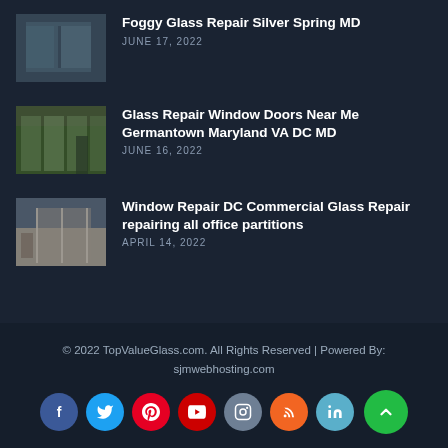[Figure (photo): Thumbnail image of foggy glass window]
Foggy Glass Repair Silver Spring MD
JUNE 17, 2022
[Figure (photo): Thumbnail image of glass door windows in a building]
Glass Repair Window Doors Near Me Germantown Maryland VA DC MD
JUNE 16, 2022
[Figure (photo): Thumbnail image of office with glass partitions]
Window Repair DC Commercial Glass Repair repairing all office partitions
APRIL 14, 2022
© 2022 TopValueGlass.com. All Rights Reserved | Powered By: sjmwebhosting.com